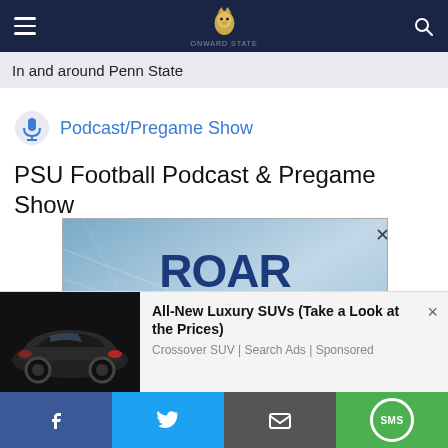Navigation bar with menu, logo, and search
In and around Penn State
Podcast/Pregame Show
PSU Football Podcast & Pregame Show
[Figure (photo): Advertisement banner: ROAR TOUR - Find Your Pride This Football Season, with Penn State lion mascot image]
[Figure (photo): Bottom overlay ad: All-New Luxury SUVs (Take a Look at the Prices) - Crossover SUV | Search Ads | Sponsored, showing a dark luxury car]
Social share bar: Facebook, Twitter, Email, SMS